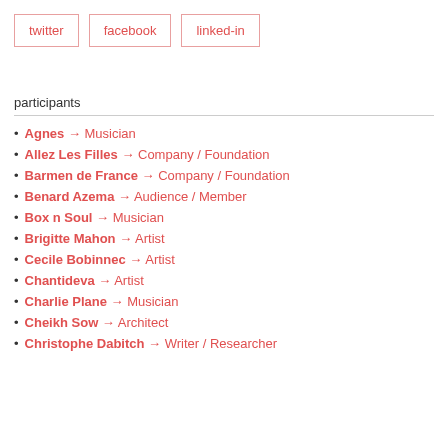twitter
facebook
linked-in
participants
Agnes → Musician
Allez Les Filles → Company / Foundation
Barmen de France → Company / Foundation
Benard Azema → Audience / Member
Box n Soul → Musician
Brigitte Mahon → Artist
Cecile Bobinnec → Artist
Chantideva → Artist
Charlie Plane → Musician
Cheikh Sow → Architect
Christophe Dabitch → Writer / Researcher